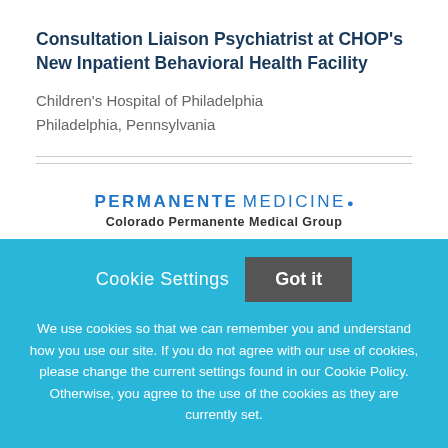Consultation Liaison Psychiatrist at CHOP's New Inpatient Behavioral Health Facility
Children's Hospital of Philadelphia
Philadelphia, Pennsylvania
[Figure (logo): Permanente Medicine logo with text 'PERMANENTE MEDICINE.' and subtitle 'Colorado Permanente Medical Group']
Cookie Settings   Got it
We use cookies so that we can remember you and understand how you use our site. If you do not agree with our use of cookies, please change the current settings found in our Cookie Policy. Otherwise, you agree to the use of the cookies as they are currently set.